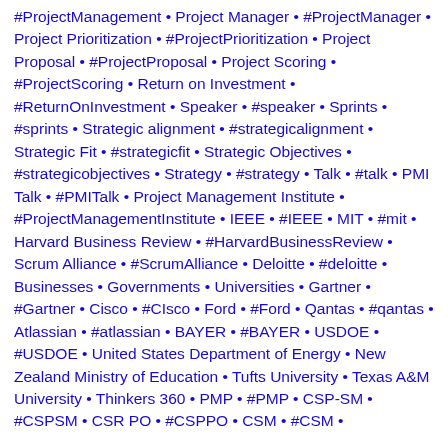#ProjectManagement • Project Manager • #ProjectManager • Project Prioritization • #ProjectPrioritization • Project Proposal • #ProjectProposal • Project Scoring • #ProjectScoring • Return on Investment • #ReturnOnInvestment • Speaker • #speaker • Sprints • #sprints • Strategic alignment • #strategicalignment • Strategic Fit • #strategicfit • Strategic Objectives • #strategicobjectives • Strategy • #strategy • Talk • #talk • PMI Talk • #PMITalk • Project Management Institute • #ProjectManagementInstitute • IEEE • #IEEE • MIT • #mit • Harvard Business Review • #HarvardBusinessReview • Scrum Alliance • #ScrumAlliance • Deloitte • #deloitte • Businesses • Governments • Universities • Gartner • #Gartner • Cisco • #CIsco • Ford • #Ford • Qantas • #qantas • Atlassian • #atlassian • BAYER • #BAYER • USDOE • #USDOE • United States Department of Energy • New Zealand Ministry of Education • Tufts University • Texas A&M University • Thinkers 360 • PMP • #PMP • CSP-SM • #CSPSM • CSR PO • #CSPPO • CSM • #CSM •